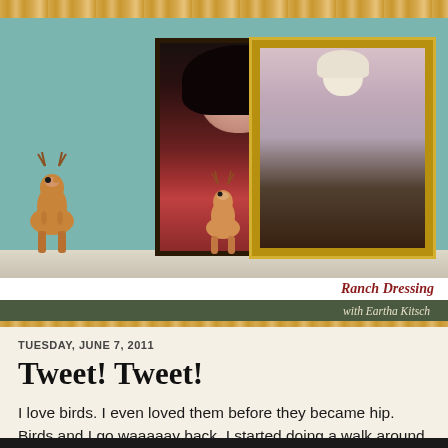[Figure (photo): Blog header photo showing a vintage shelf scene with two ceramic fawn figurines, a portrait painting of a dark-haired woman in a dark frame, and a vintage photo of a young man playing guitar in a cowboy hat in a gold ornate frame, against a teal/mint wall background.]
Ranch Dressing
with Eartha Kitsch
TUESDAY, JUNE 7, 2011
Tweet! Tweet!
I love birds. I even loved them before they became hip. Birds and I go waaaaay back. I started doing a walk around the house and realized that they're pretty prevalent in my design scheme too.